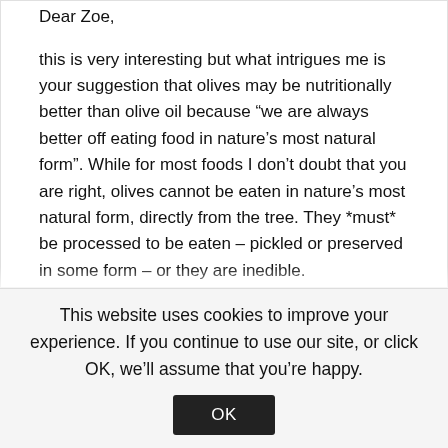Dear Zoe,
this is very interesting but what intrigues me is your suggestion that olives may be nutritionally better than olive oil because “we are always better off eating food in nature’s most natural form”. While for most foods I don’t doubt that you are right, olives cannot be eaten in nature’s most natural form, directly from the tree. They *must* be processed to be eaten – pickled or preserved in some form – or they are inedible.
There are other foods for which this is also true – some prehistoric peoples ate acorns, for example, which must be processed to make them
This website uses cookies to improve your experience. If you continue to use our site, or click OK, we’ll assume that you’re happy.